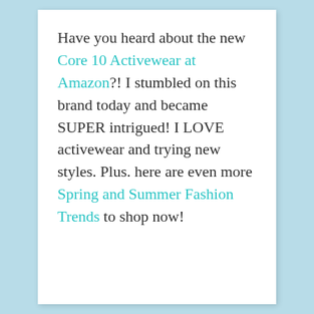Have you heard about the new Core 10 Activewear at Amazon?! I stumbled on this brand today and became SUPER intrigued! I LOVE activewear and trying new styles. Plus. here are even more Spring and Summer Fashion Trends to shop now!